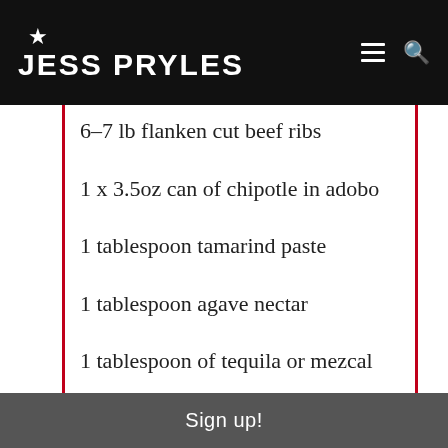JESS PRYLES
6–7 lb flanken cut beef ribs
1 x 3.5oz can of chipotle in adobo
1 tablespoon tamarind paste
1 tablespoon agave nectar
1 tablespoon of tequila or mezcal
kosher salt
Sign up!